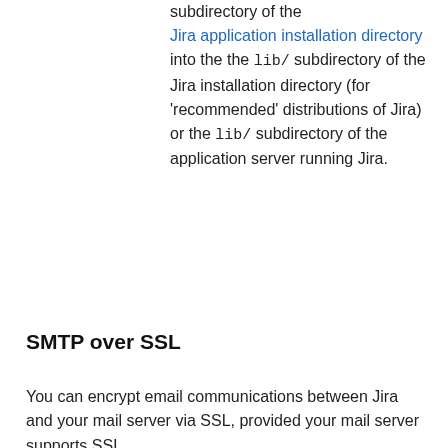subdirectory of the Jira application installation directory into the the lib/ subdirectory of the Jira installation directory (for 'recommended' distributions of Jira) or the lib/ subdirectory of the application server running Jira.
SMTP over SSL
You can encrypt email communications between Jira and your mail server via SSL, provided your mail server supports SSL.
Firstly, you will need to import the SMTP server certificate into a Java keystore. The process is described on the Configuring an SSL connection to Active Directory page.
⚠ Important Note: Without importing the certificate, Jira will not be able to communicate with your mail server.